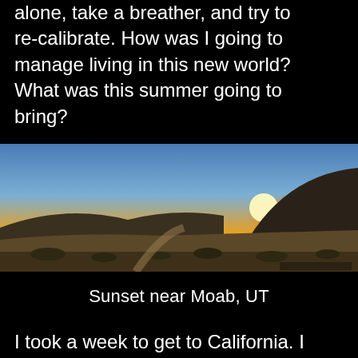alone, take a breather, and try to re-calibrate. How was I going to manage living in this new world? What was this summer going to bring?
[Figure (photo): Desert landscape at sunset near Moab, UT. The sun is setting behind a large rocky hill on the right side. The landscape shows dry scrubland and a dirt road leading into the distance. The sky transitions from golden yellow near the horizon to blue above.]
Sunset near Moab, UT
I took a week to get to California. I between, I completely isolated from human contact. I stayed away from the